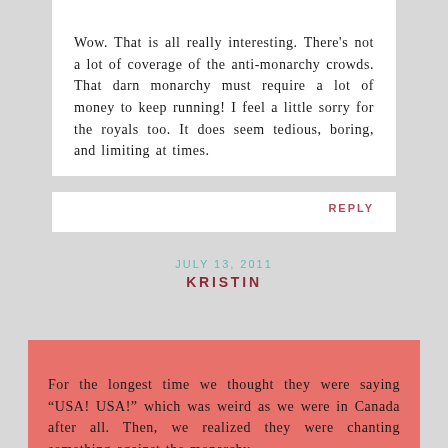Wow. That is all really interesting. There's not a lot of coverage of the anti-monarchy crowds. That darn monarchy must require a lot of money to keep running! I feel a little sorry for the royals too. It does seem tedious, boring, and limiting at times.
REPLY
JULY 13, 2011
KRISTIN
For the longest time we thought they were saying “USA! USA!” which was weird as we were in Canada after all. Then, we realized they were chanting something against the monarchy